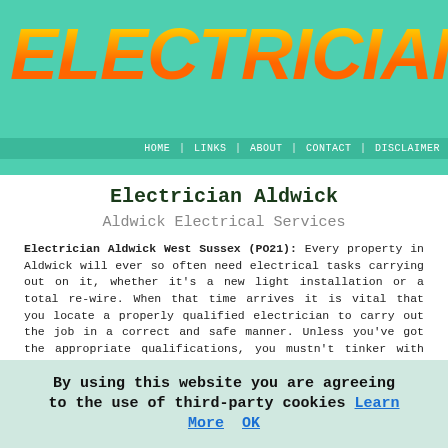ELECTRICIANS
HOME | LINKS | ABOUT | CONTACT | DISCLAIMER
Electrician Aldwick
Aldwick Electrical Services
Electrician Aldwick West Sussex (PO21): Every property in Aldwick will ever so often need electrical tasks carrying out on it, whether it's a new light installation or a total re-wire. When that time arrives it is vital that you locate a properly qualified electrician to carry out the job in a correct and safe manner. Unless you've got the appropriate qualifications, you mustn't tinker with electrics yourself. And due to the safety risks associated with this sort of work, it's not recommended to use a "handyman" service. Thus, whether you need a light fitting put up, a complete
By using this website you are agreeing to the use of third-party cookies Learn More  OK